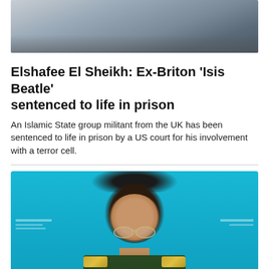[Figure (photo): Top portion of a photo showing a dark, blurred indoor scene with figures]
Elshafee El Sheikh: Ex-Briton 'Isis Beatle' sentenced to life in prison
An Islamic State group militant from the UK has been sentenced to life in prison by a US court for his involvement with a terror cell.
[Figure (photo): Portrait photo of a man in military uniform with gold epaulettes and glasses, against a blue background with white text elements]